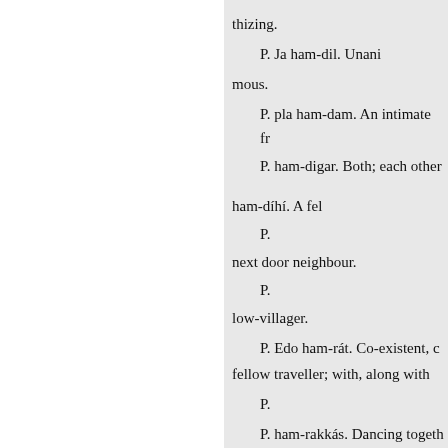thizing.
P. Ja ham-dil. Unanimous.
P. pla ham-dam. An intimate fr
P. ham-digar. Both; each other
ham-díhí. A fel
P.
next door neighbour.
P.
low-villager.
P. Edo ham-rát. Co-existent, co fellow traveller; with, along with
P.
P. ham-rakkás. Dancing togeth
P. E ham-rang. Of the same co
P.